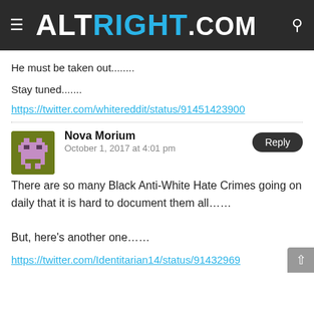ALTRIGHT.COM
He must be taken out........
Stay tuned.......
https://twitter.com/whitereddit/status/91451423900
Nova Morium
October 1, 2017 at 4:01 pm
There are so many Black Anti-White Hate Crimes going on daily that it is hard to document them all......

But, here’s another one......
https://twitter.com/Identitarian14/status/91432969